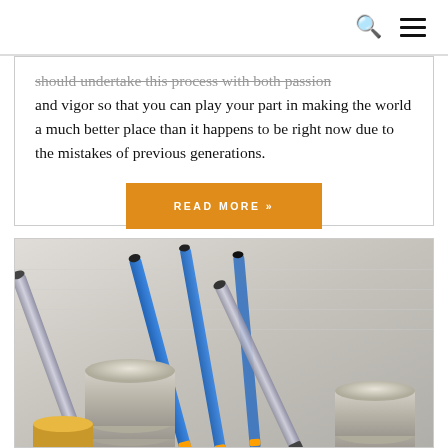should undertake this process with both passion and vigor so that you can play your part in making the world a much better place than it happens to be right now due to the mistakes of previous generations.
READ MORE »
[Figure (photo): Photo of stacked coins and several blue and black pens/ballpoint pens on a light background, suggesting a financial or accounting context.]